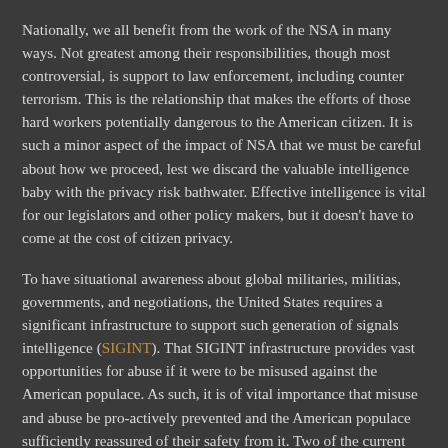Nationally, we all benefit from the work of the NSA in many ways. Not greatest among their responsibilities, though most controversial, is support to law enforcement, including counter terrorism. This is the relationship that makes the efforts of those hard workers potentially dangerous to the American citizen. It is such a minor aspect of the impact of NSA that we must be careful about how we proceed, lest we discard the valuable intelligence baby with the privacy risk bathwater. Effective intelligence is vital for our legislators and other policy makers, but it doesn't have to come at the cost of citizen privacy.
To have situational awareness about global militaries, militias, governments, and negotiations, the United States requires a significant infrastructure to support such generation of signals intelligence (SIGINT). That SIGINT infrastructure provides vast opportunities for abuse if it were to be misused against the American populace. As such, it is of vital importance that misuse and abuse be pro-actively prevented and the American populace sufficiently reassured of their safety from it. Two of the current missions of the NSA must be ended: support to law enforcement and counter terrorism. If any SIGINT is actionable against United States citizens in any manner then the entire infrastructure can...